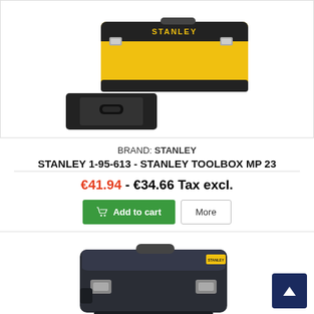[Figure (photo): Stanley toolbox product photo: yellow and black toolbox (model 1-95-613) with a removable black tray in front, shot on white background]
BRAND: STANLEY
STANLEY 1-95-613 - STANLEY TOOLBOX MP 23
€41.94 - €34.66 Tax excl.
Add to cart | More
[Figure (photo): Stanley FatMax toolbox product photo: dark grey/black hard case toolbox with silver latches, shot on white background, partially visible at bottom of page]